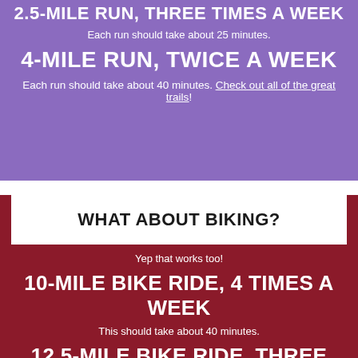2.5-MILE RUN, THREE TIMES A WEEK
Each run should take about 25 minutes.
4-MILE RUN, TWICE A WEEK
Each run should take about 40 minutes. Check out all of the great trails!
WHAT ABOUT BIKING?
Yep that works too!
10-MILE BIKE RIDE, 4 TIMES A WEEK
This should take about 40 minutes.
12.5-MILE BIKE RIDE, THREE TIMES A WEEK